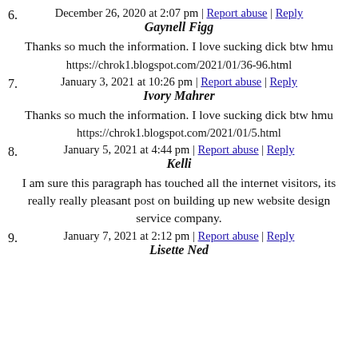6. December 26, 2020 at 2:07 pm | Report abuse | Reply
Gaynell Figg
Thanks so much the information. I love sucking dick btw hmu
https://chrok1.blogspot.com/2021/01/36-96.html
7. January 3, 2021 at 10:26 pm | Report abuse | Reply
Ivory Mahrer
Thanks so much the information. I love sucking dick btw hmu
https://chrok1.blogspot.com/2021/01/5.html
8. January 5, 2021 at 4:44 pm | Report abuse | Reply
Kelli
I am sure this paragraph has touched all the internet visitors, its really really pleasant post on building up new website design service company.
9. January 7, 2021 at 2:12 pm | Report abuse | Reply
Lisette Ned